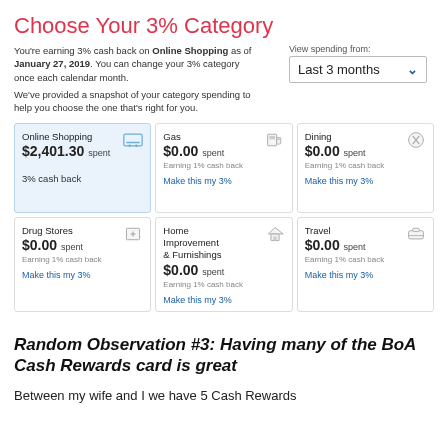Choose Your 3% Category
You're earning 3% cash back on Online Shopping as of January 27, 2019. You can change your 3% category once each calendar month.
View spending from: Last 3 months
We've provided a snapshot of your category spending to help you choose the one that's right for you.
| Category | Amount | Status |
| --- | --- | --- |
| Online Shopping | $2,401.30 spent | 3% cash back |
| Gas | $0.00 spent | Earning 1% cash back |
| Dining | $0.00 spent | Earning 1% cash back |
| Drug Stores | $0.00 spent | Earning 1% cash back |
| Home Improvement & Furnishings | $0.00 spent | Earning 1% cash back |
| Travel | $0.00 spent | Earning 1% cash back |
Random Observation #3: Having many of the BoA Cash Rewards card is great
Between my wife and I we have 5 Cash Rewards